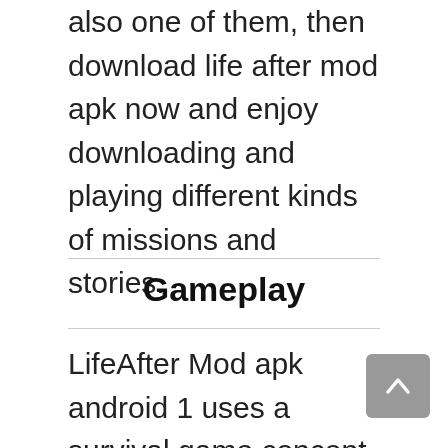also one of them, then download life after mod apk now and enjoy downloading and playing different kinds of missions and stories.
Gameplay
LifeAfter Mod apk android 1 uses a survival game concept and premise which is similar to other popular survival games. Players will find food and shelter in their new homes and must make sure that they have enough of each resource to survive. They will also have to fight off creatures that are also part of the wild, and using their powerful weapons